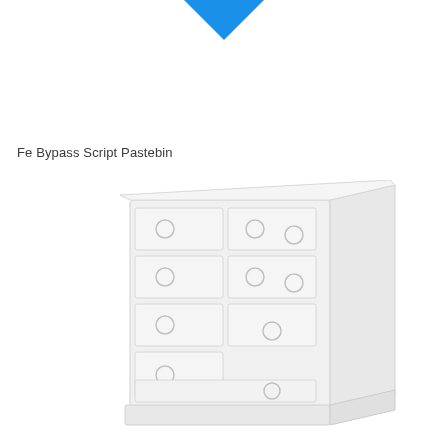[Figure (illustration): A blue downward-pointing arrow/chevron shape at the top center of the page]
Fe Bypass Script Pastebin
[Figure (illustration): A white/light grey dresser or chest of drawers shown in perspective view, with multiple drawers and round ring handles, rendered in a pale washed-out style against a white background]